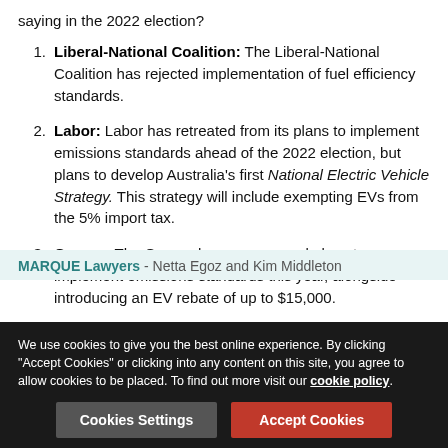saying in the 2022 election?
Liberal-National Coalition: The Liberal-National Coalition has rejected implementation of fuel efficiency standards.
Labor: Labor has retreated from its plans to implement emissions standards ahead of the 2022 election, but plans to develop Australia's first National Electric Vehicle Strategy. This strategy will include exempting EVs from the 5% import tax.
Greens: The Greens have announced plans to implement emissions standards this year, alongside introducing an EV rebate of up to $15,000.
MARQUE Lawyers - Netta Egoz and Kim Middleton
We use cookies to give you the best online experience. By clicking "Accept Cookies" or clicking into any content on this site, you agree to allow cookies to be placed. To find out more visit our cookie policy.